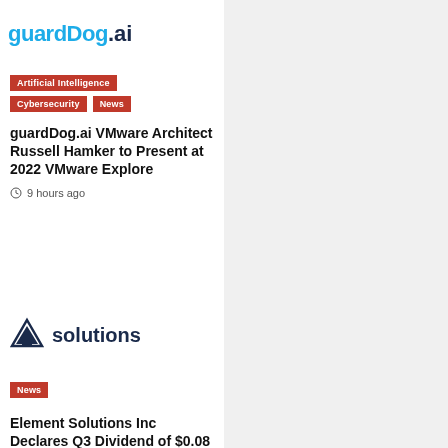[Figure (logo): guardDog.ai logo in blue text, partially cropped]
[Figure (logo): Element Solutions triangle logo with 'solutions' text]
Artificial Intelligence
Cybersecurity
News
News
guardDog.ai VMware Architect Russell Hamker to Present at 2022 VMware Explore
9 hours ago
Element Solutions Inc Declares Q3 Dividend of $0.08 Per Share
1 day ago
[Figure (photo): Outdoor scene with people gathered around trees, a road in background, lush green foliage]